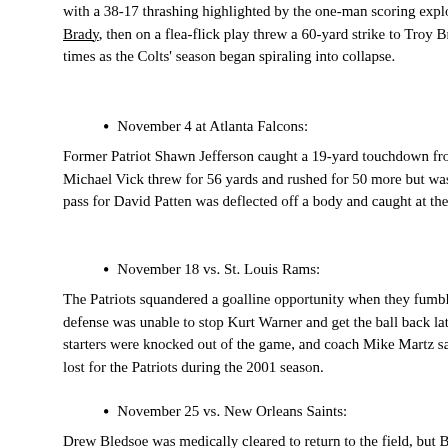with a 38-17 thrashing highlighted by the one-man scoring explosion of David Patten, w Brady, then on a flea-flick play threw a 60-yard strike to Troy Brown, all in the first half times as the Colts' season began spiraling into collapse.
November 4 at Atlanta Falcons:
Former Patriot Shawn Jefferson caught a 19-yard touchdown from Chris Chandler, but C Michael Vick threw for 56 yards and rushed for 50 more but was sacked three times. Th pass for David Patten was deflected off a body and caught at the 30-yard line by Troy B
November 18 vs. St. Louis Rams:
The Patriots squandered a goalline opportunity when they fumbled to the Rams late in th defense was unable to stop Kurt Warner and get the ball back late in the game, as the Ra starters were knocked out of the game, and coach Mike Martz said afterward that the Pa lost for the Patriots during the 2001 season.
November 25 vs. New Orleans Saints:
Drew Bledsoe was medically cleared to return to the field, but Bill Belichick ruled that B touchdowns in a 34–17 triumph. Ricky Williams, soon to leave the Saints for the Miami with the Patriots.
December 2 at New York Jets: